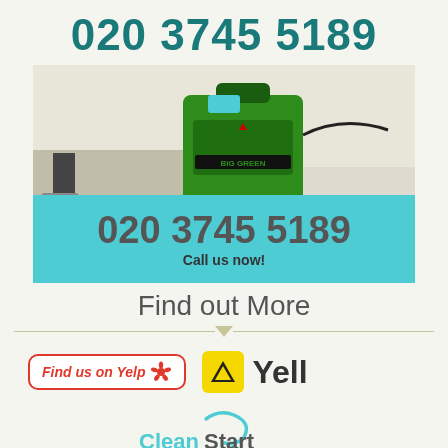020 3745 5189
[Figure (photo): Bissell Big Green carpet cleaning machine on a light-colored carpet, with a person's feet visible on the left]
020 3745 5189
Call us now!
Find out More
[Figure (logo): Find us on Yelp logo badge with Yelp flower icon]
[Figure (logo): Yell.com logo with yellow triangle A icon and Yell text]
[Figure (logo): Clean Start Carpet Cleaning logo with teal swirl]
Home   About us   Price List   Contacts